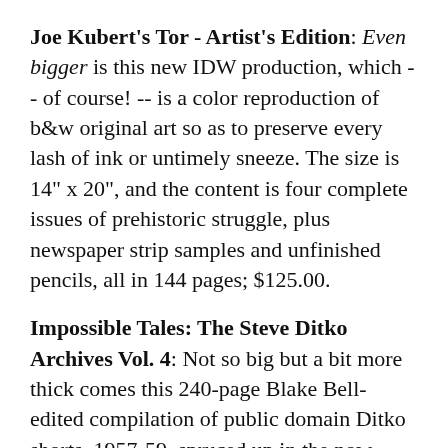Joe Kubert's Tor - Artist's Edition: Even bigger is this new IDW production, which -- of course! -- is a color reproduction of b&w original art so as to preserve every lash of ink or untimely sneeze. The size is 14" x 20", and the content is four complete issues of prehistoric struggle, plus newspaper strip samples and unfinished pencils, all in 144 pages; $125.00.
Impossible Tales: The Steve Ditko Archives Vol. 4: Not so big but a bit more thick comes this 240-page Blake Bell-edited compilation of public domain Ditko shorts, 1957-59, spruced up in the now-familiar 7.25 x 10" Fantagraphics hardcover format. Samples; $39.99.
The Secret History of Marvel Comics: Jack Kirby and the Moonlighting Artists at Martin Goodman's Empire: And finally, your book-on-comics of the